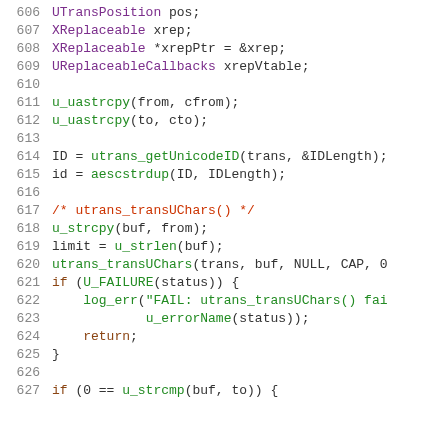[Figure (screenshot): Source code listing showing C code lines 606-627 with syntax highlighting. Purple for type names, green for function calls and strings, dark red for comments, dark for keywords and variables, grey for line numbers.]